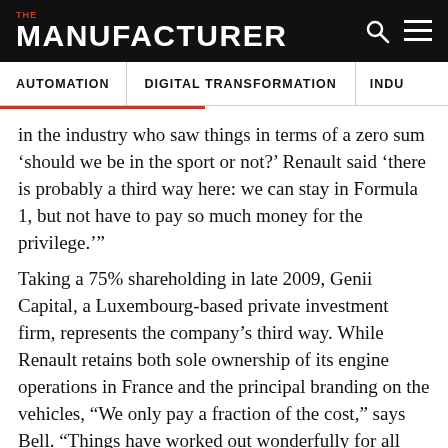THE MANUFACTURER
AUTOMATION | DIGITAL TRANSFORMATION | INDU
in the industry who saw things in terms of a zero sum ‘should we be in the sport or not?’ Renault said ‘there is probably a third way here: we can stay in Formula 1, but not have to pay so much money for the privilege.’”
Taking a 75% shareholding in late 2009, Genii Capital, a Luxembourg-based private investment firm, represents the company’s third way. While Renault retains both sole ownership of its engine operations in France and the principal branding on the vehicles, “We only pay a fraction of the cost,” says Bell. “Things have worked out wonderfully for all concerned. As befitting our team’s history, it comes down to Renault’s playing clever and not